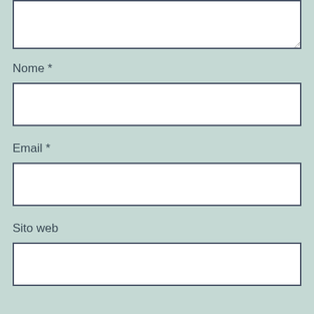[Figure (screenshot): A web form fragment showing a comment/text area at the top (partially visible), followed by labeled input fields for Nome (Name), Email, and Sito web (Website), all on a muted teal/sage green background. Each field consists of a label and a white rectangular input box with dark border.]
Nome *
Email *
Sito web